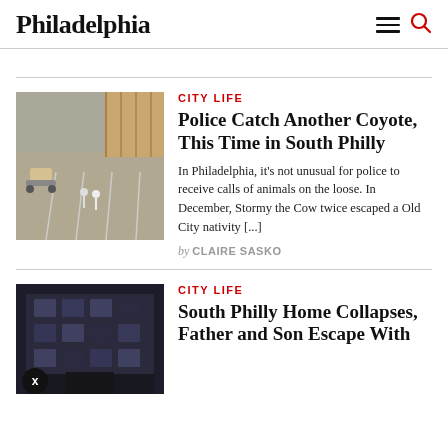Philadelphia
[Figure (photo): Aerial view of a city lot with concrete, a forklift, and construction materials]
CITY LIFE
Police Catch Another Coyote, This Time in South Philly
In Philadelphia, it's not unusual for police to receive calls of animals on the loose. In December, Stormy the Cow twice escaped a Old City nativity [...]
by CLAIRE SASKO
[Figure (photo): Exterior of a multi-story brick apartment building at night]
CITY LIFE
South Philly Home Collapses, Father and Son Escape With